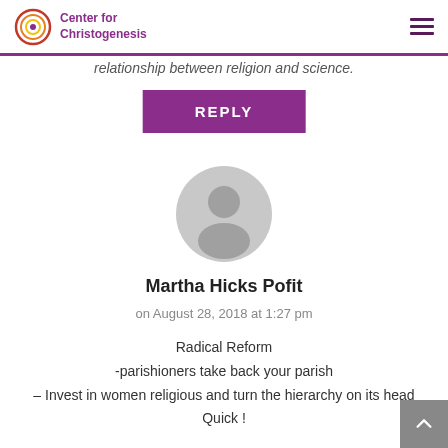Center for Christogenesis
relationship between religion and science.
REPLY
[Figure (illustration): Generic user avatar — grey silhouette of a person on a circular light grey background]
Martha Hicks Pofit
on August 28, 2018 at 1:27 pm
Radical Reform
-parishioners take back your parish
– Invest in women religious and turn the hierarchy on its head
Quick !